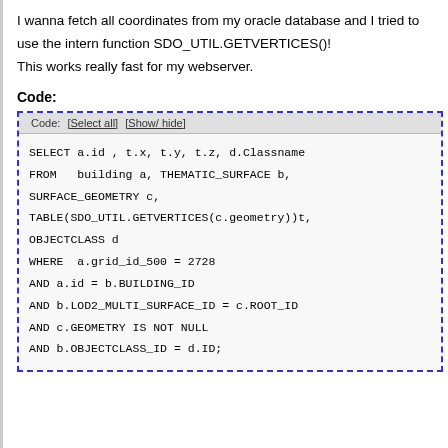I wanna fetch all coordinates from my oracle database and I tried to use the intern function SDO_UTIL.GETVERTICES()!
This works really fast for my webserver.
Code:
Code: [Select all] [Show/ hide]

SELECT a.id , t.x, t.y, t.z, d.Classname
FROM   building a, THEMATIC_SURFACE b,
SURFACE_GEOMETRY c,
TABLE(SDO_UTIL.GETVERTICES(c.geometry))t,
OBJECTCLASS d
WHERE  a.grid_id_500 = 2728
AND a.id = b.BUILDING_ID
AND b.LOD2_MULTI_SURFACE_ID = c.ROOT_ID
AND c.GEOMETRY IS NOT NULL
AND b.OBJECTCLASS_ID = d.ID;